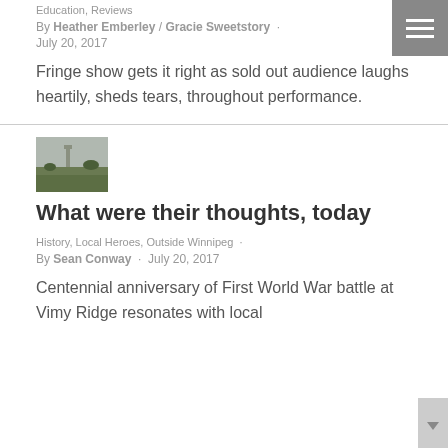Education, Reviews
By Heather Emberley / Gracie Sweetstory · July 20, 2017
Fringe show gets it right as sold out audience laughs heartily, sheds tears, throughout performance.
[Figure (photo): Thumbnail photo of a field with a monument or structure in the background under an overcast sky]
What were their thoughts, today
History, Local Heroes, Outside Winnipeg · By Sean Conway · July 20, 2017
Centennial anniversary of First World War battle at Vimy Ridge resonates with local